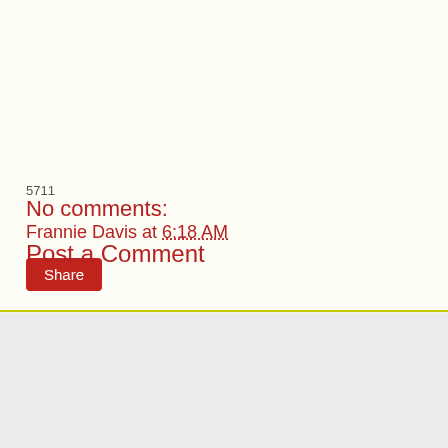5711
Frannie Davis at 6:18 AM
Share
No comments:
Post a Comment
‹
Home
›
View web version
Powered by Blogger.